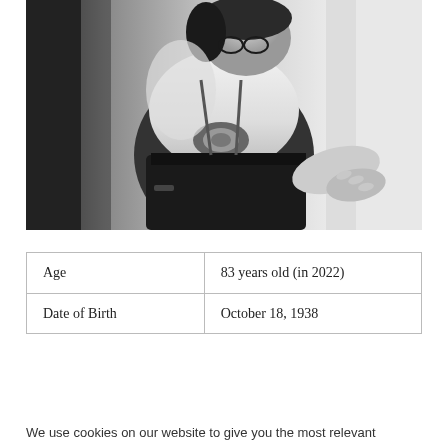[Figure (photo): Black and white photograph of a person wearing a white knotted shirt and dark high-waisted pants, leaning forward. Another person's hand is visible at the waist area. Moody, artistic composition.]
| Age | 83 years old (in 2022) |
| Date of Birth | October 18, 1938 |
We use cookies on our website to give you the most relevant